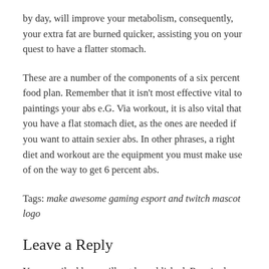by day, will improve your metabolism, consequently, your extra fat are burned quicker, assisting you on your quest to have a flatter stomach.
These are a number of the components of a six percent food plan. Remember that it isn't most effective vital to paintings your abs e.G. Via workout, it is also vital that you have a flat stomach diet, as the ones are needed if you want to attain sexier abs. In other phrases, a right diet and workout are the equipment you must make use of on the way to get 6 percent abs.
Tags: make awesome gaming esport and twitch mascot logo
Leave a Reply
Your email address will not be published. Required fields